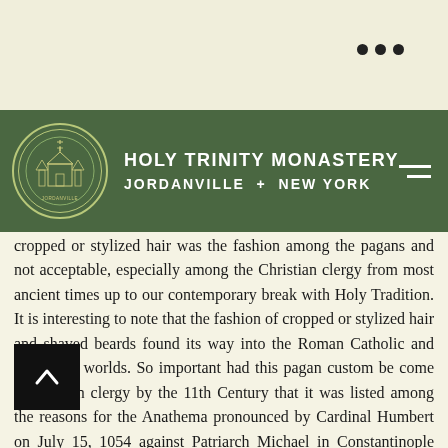HOLY TRINITY MONASTERY JORDANVILLE + NEW YORK
cropped or stylized hair was the fashion among the pagans and not acceptable, especially among the Christian clergy from most ancient times up to our contemporary break with Holy Tradition. It is interesting to note that the fashion of cropped or stylized hair and shaved beards found its way into the Roman Catholic and Protestant worlds. So important had this pagan custom be come for Roman clergy by the 11th Century that it was listed among the reasons for the Anathema pronounced by Cardinal Humbert on July 15, 1054 against Patriarch Michael in Constantinople which precipitated the Western Church's final falling away from the Orthodox Church: "While wearing beards and long hair you [Eastern Orthodox] reject the bond of brotherhood with